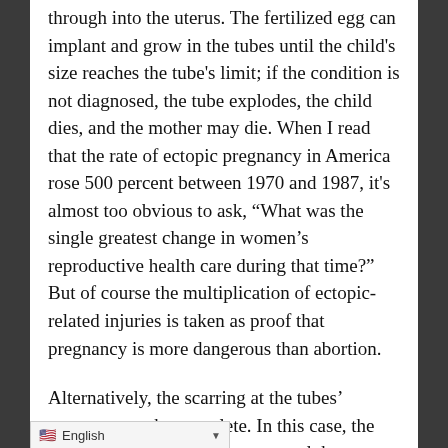through into the uterus. The fertilized egg can implant and grow in the tubes until the child's size reaches the tube's limit; if the condition is not diagnosed, the tube explodes, the child dies, and the mother may die. When I read that the rate of ectopic pregnancy in America rose 500 percent between 1970 and 1987, it's almost too obvious to ask, “What was the single greatest change in women’s reproductive health care during that time?” But of course the multiplication of ectopic-related injuries is taken as proof that pregnancy is more dangerous than abortion.
Alternatively, the scarring at the tubes’ entrance may be complete. In this case, the sperm can never meet the egg, and the woman is sterile; she thought she was aborting one pregnancy, but she [aborted all pregnancies for the rest of her
English